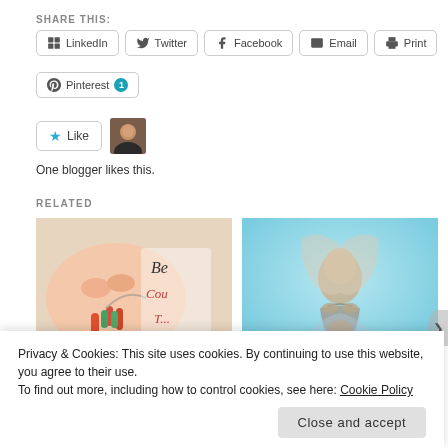SHARE THIS:
LinkedIn | Twitter | Facebook | Email | Print
Pinterest 1
[Figure (other): Like button with blue star and blogger avatar photo]
One blogger likes this.
RELATED
[Figure (photo): Hand with painted nails holding a needle, with text 'Be... Cou... T...' on background]
[Figure (photo): Woman praying with hands clasped, surrounded by blue mist]
Privacy & Cookies: This site uses cookies. By continuing to use this website, you agree to their use.
To find out more, including how to control cookies, see here: Cookie Policy
Close and accept